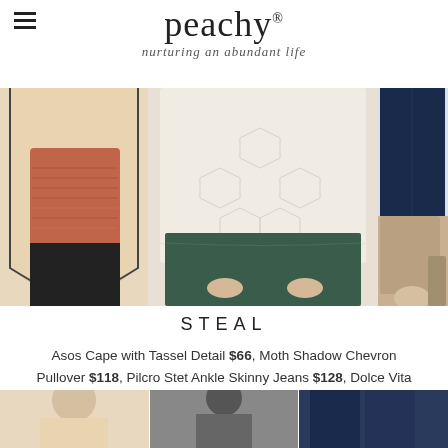peachy® — nurturing an abundant life
[Figure (photo): Collage of fashion items: beige cape with tassel, red-orange knit top, cream chevron pullover sweater over green leather skirt, dark skinny jeans, and taupe open-toe block heel booties]
STEAL
Asos Cape with Tassel Detail $66, Moth Shadow Chevron Pullover $118, Pilcro Stet Ankle Skinny Jeans $128, Dolce Vita Noa Booties $160
[Figure (photo): Bottom strip showing partial fashion photos of models/clothing items]